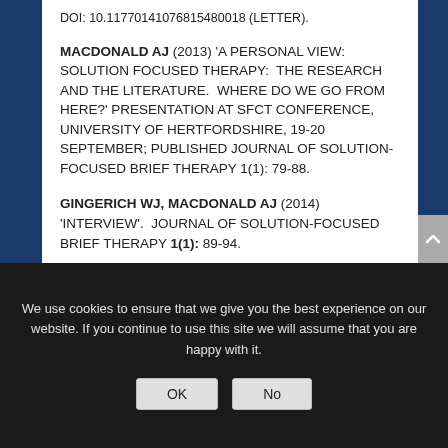DOI: 10.11770141076815480018 (LETTER).
MACDONALD AJ (2013) 'A PERSONAL VIEW: SOLUTION FOCUSED THERAPY: THE RESEARCH AND THE LITERATURE. WHERE DO WE GO FROM HERE?' PRESENTATION AT SFCT CONFERENCE, UNIVERSITY OF HERTFORDSHIRE, 19-20 SEPTEMBER; PUBLISHED JOURNAL OF SOLUTION-FOCUSED BRIEF THERAPY 1(1): 79-88.
GINGERICH WJ, MACDONALD AJ (2014) 'INTERVIEW'. JOURNAL OF SOLUTION-FOCUSED BRIEF THERAPY 1(1): 89-94.
We use cookies to ensure that we give you the best experience on our website. If you continue to use this site we will assume that you are happy with it.